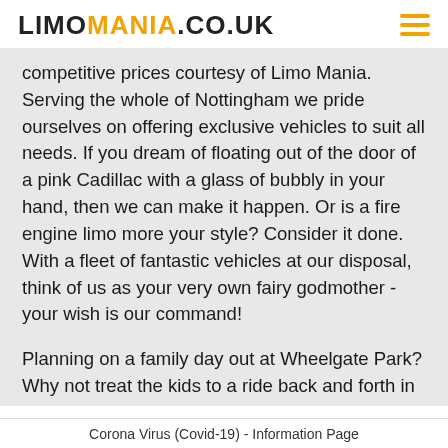LIMOMANIA.CO.UK
competitive prices courtesy of Limo Mania. Serving the whole of Nottingham we pride ourselves on offering exclusive vehicles to suit all needs. If you dream of floating out of the door of a pink Cadillac with a glass of bubbly in your hand, then we can make it happen. Or is a fire engine limo more your style? Consider it done. With a fleet of fantastic vehicles at our disposal, think of us as your very own fairy godmother - your wish is our command!
Planning on a family day out at Wheelgate Park? Why not treat the kids to a ride back and forth in a hummer? Guaranteed to silence the usual pleas of ●are we there yet?● How about adding a touch of glamour to your night at Nottingham's Greyhound Stadium? Rolling up in a
Corona Virus (Covid-19) - Information Page